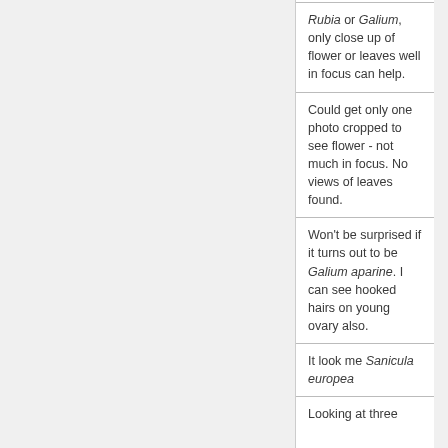Rubia or Galium, only close up of flower or leaves well in focus can help.
Could get only one photo cropped to see flower - not much in focus. No views of leaves found.
Won't be surprised if it turns out to be Galium aparine. I can see hooked hairs on young ovary also.
It look me Sanicula europea
Looking at three